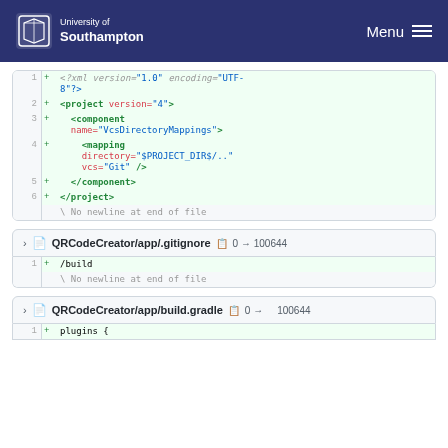University of Southampton — Menu
[Figure (screenshot): Code diff showing XML file with added lines: <?xml version="1.0" encoding="UTF-8"?>, <project version="4">, <component name="VcsDirectoryMappings">, <mapping directory="$PROJECT_DIR$/.." vcs="Git" />, </component>, </project>, followed by 'No newline at end of file']
QRCodeCreator/app/.gitignore  0 → 100644
[Figure (screenshot): Code diff showing .gitignore file with added line: /build, followed by 'No newline at end of file']
QRCodeCreator/app/build.gradle  0 → 100644
[Figure (screenshot): Code diff showing beginning of build.gradle with added line starting with 'plugins {']